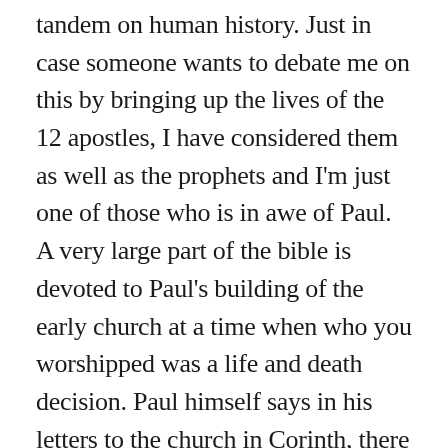tandem on human history. Just in case someone wants to debate me on this by bringing up the lives of the 12 apostles, I have considered them as well as the prophets and I'm just one of those who is in awe of Paul. A very large part of the bible is devoted to Paul's building of the early church at a time when who you worshipped was a life and death decision. Paul himself says in his letters to the church in Corinth, there was indeed a point to his suffering and persecution and the basis for most, if not all, of what he went through was a by-product of his faith in Jesus Christ.